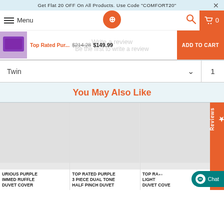Get Flat 20 OFF On All Products. Use Code "COMFORT20"
Menu | Logo | Search | Cart 0
Top Rated Pur... $214.28 $149.99 | ADD TO CART
Write a review | Be the first to write a review
Twin  ∨  |  1
You May Also Like
URIOUS PURPLE IMMED RUFFLE DUVET COVER
TOP RATED PURPLE 3 PIECE DUAL TONE HALF PINCH DUVET
TOP RATED LIGHT DUVET COVE